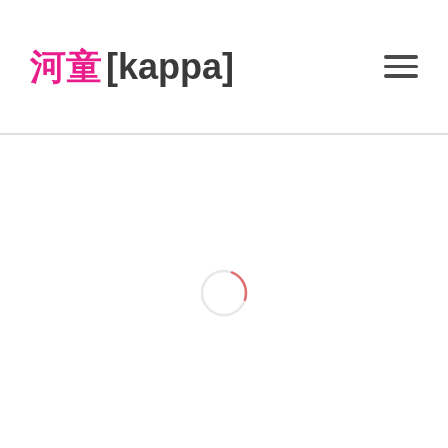河童 [kappa]
[Figure (other): Loading spinner — a thin-stroked circle with a pinkish-red arc segment at the top, indicating a page loading state, centered in the white content area below the header.]